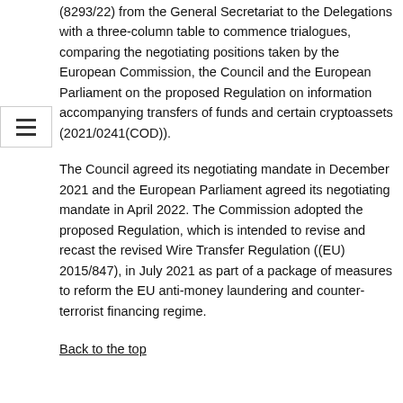(8293/22) from the General Secretariat to the Delegations with a three-column table to commence trialogues, comparing the negotiating positions taken by the European Commission, the Council and the European Parliament on the proposed Regulation on information accompanying transfers of funds and certain cryptoassets (2021/0241(COD)).
The Council agreed its negotiating mandate in December 2021 and the European Parliament agreed its negotiating mandate in April 2022. The Commission adopted the proposed Regulation, which is intended to revise and recast the revised Wire Transfer Regulation ((EU) 2015/847), in July 2021 as part of a package of measures to reform the EU anti-money laundering and counter-terrorist financing regime.
Back to the top